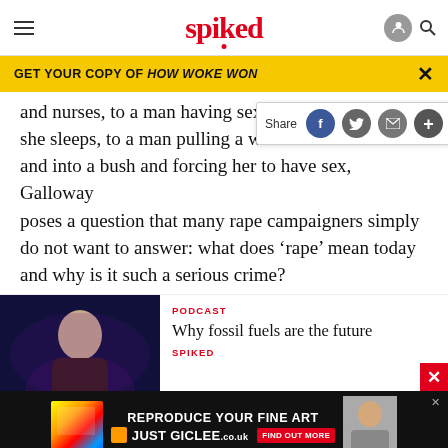spiked
GET YOUR COPY OF HOW WOKE WON
and nurses, to a man having sex she sleeps, to a man pulling a woman from the street and into a bush and forcing her to have sex, Galloway poses a question that many rape campaigners simply do not want to answer: what does ‘rape’ mean today and why is it such a serious crime?
[Figure (screenshot): Spiked website screenshot showing article text with share bar overlay (Facebook, Twitter, email, plus icons)]
[Figure (photo): Man in dark clothing against purple/blue background — podcast thumbnail image]
PODCAST
Why fossil fuels are the future
SPIKED
[Figure (screenshot): Advertisement banner: REPRODUCE YOUR FINE ART / JUST GICLEE.co.uk with colorful print samples and a person photo on right]
ABOUT